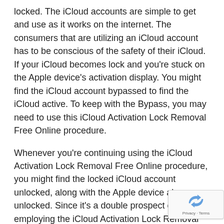locked. The iCloud accounts are simple to get and use as it works on the internet. The consumers that are utilizing an iCloud account has to be conscious of the safety of their iCloud. If your iCloud becomes lock and you're stuck on the Apple device's activation display. You might find the iCloud account bypassed to find the iCloud active. To keep with the Bypass, you may need to use this iCloud Activation Lock Removal Free Online procedure.
Whenever you're continuing using the iCloud Activation Lock Removal Free Online procedure, you might find the locked iCloud account unlocked, along with the Apple device also unlocked. Since it's a double prospect of employing the iCloud Activation Lock Removal Free Online procedure, it is simple to prepare the iCloud as previously. For more information regrading the iCloud Bypass process just https://www.icloudbypassonline.com/